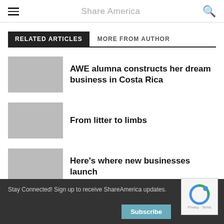Share America
RELATED ARTICLES  MORE FROM AUTHOR
AWE alumna constructs her dream business in Costa Rica
From litter to limbs
Here's where new businesses launch
Stay Connected! Sign up to receive ShareAmerica updates.